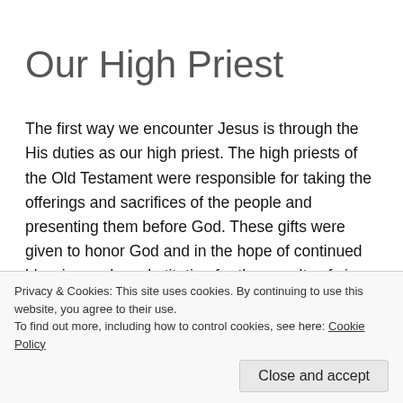Our High Priest
The first way we encounter Jesus is through the His duties as our high priest. The high priests of the Old Testament were responsible for taking the offerings and sacrifices of the people and presenting them before God. These gifts were given to honor God and in the hope of continued blessing and a substitution for the penalty of sin on their lives. The highest honor for one of these Levitical high priests before the
Privacy & Cookies: This site uses cookies. By continuing to use this website, you agree to their use.
To find out more, including how to control cookies, see here: Cookie Policy
Close and accept